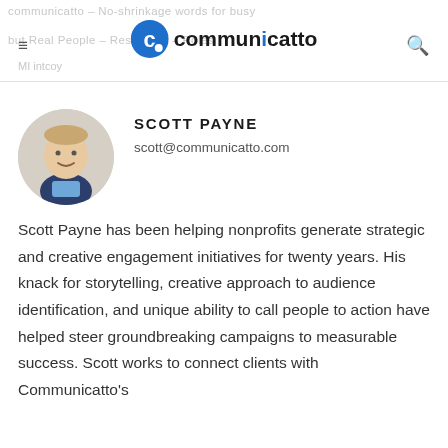communicatto
SCOTT PAYNE
scott@communicatto.com
[Figure (photo): Circular headshot of Scott Payne, a man in a dark blazer and blue shirt, smiling, against a light background]
Scott Payne has been helping nonprofits generate strategic and creative engagement initiatives for twenty years. His knack for storytelling, creative approach to audience identification, and unique ability to call people to action have helped steer groundbreaking campaigns to measurable success. Scott works to connect clients with Communicatto's